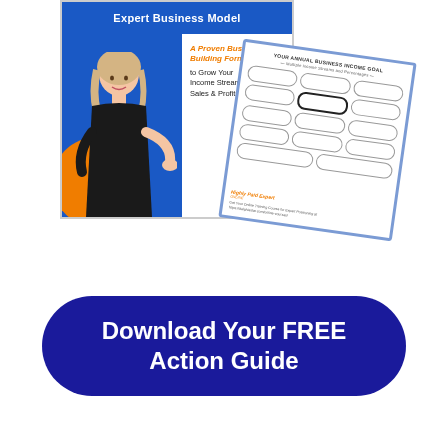[Figure (illustration): Book cover titled 'Expert Business Model' with a woman in black outfit, blue and orange design, tagline 'A Proven Business Formula to Grow Your Income Streams, Sales & Profits', alongside an overlapping worksheet titled 'Your Annual Business Income Goal - Multiple Income Streams and Percentages' with pill-shaped placeholders and branding from Highly Paid Expert Online]
Download Your FREE Action Guide